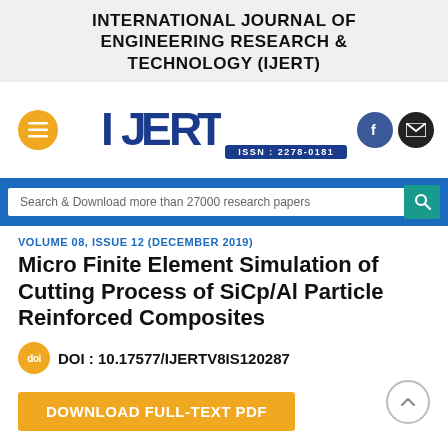INTERNATIONAL JOURNAL OF ENGINEERING RESEARCH & TECHNOLOGY (IJERT)
[Figure (logo): IJERT logo with menu button on left, IJERT wordmark and ISSN: 2278-0181 in center, Facebook and email icons on right]
Search & Download more than 27000 research papers
VOLUME 08, ISSUE 12 (DECEMBER 2019)
Micro Finite Element Simulation of Cutting Process of SiCp/Al Particle Reinforced Composites
DOI : 10.17577/IJERTV8IS120287
DOWNLOAD FULL-TEXT PDF